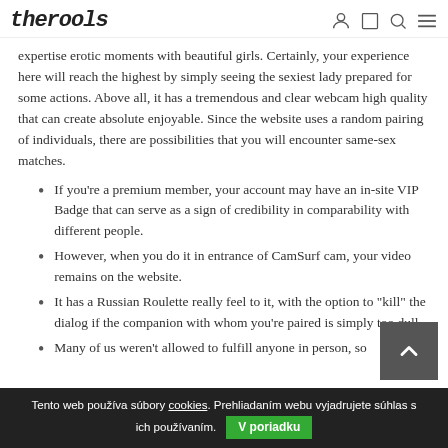theROOLS
expertise erotic moments with beautiful girls. Certainly, your experience here will reach the highest by simply seeing the sexiest lady prepared for some actions. Above all, it has a tremendous and clear webcam high quality that can create absolute enjoyable. Since the website uses a random pairing of individuals, there are possibilities that you will encounter same-sex matches.
If you're a premium member, your account may have an in-site VIP Badge that can serve as a sign of credibility in comparability with different people.
However, when you do it in entrance of CamSurf cam, your video remains on the website.
It has a Russian Roulette really feel to it, with the option to "kill" the dialog if the companion with whom you're paired is simply too dull.
Many of us weren't allowed to fulfill anyone in person, so
Tento web používa súbory cookies. Prehliadaním webu vyjadrujete súhlas s ich používaním. V poriadku